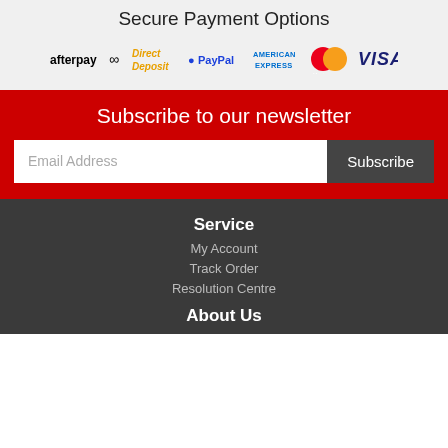Secure Payment Options
[Figure (logo): Payment method logos: afterpay, Direct Deposit, PayPal, American Express, MasterCard, VISA]
Subscribe to our newsletter
Email Address
Subscribe
Service
My Account
Track Order
Resolution Centre
About Us